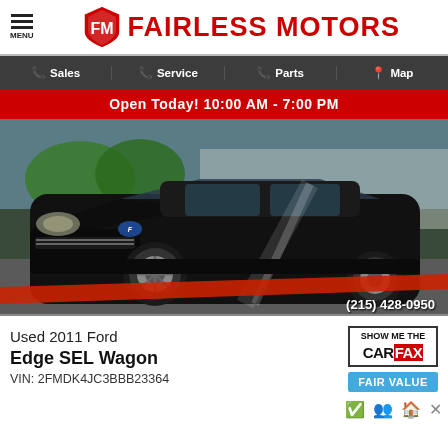FAIRLESS MOTORS
Sales | Service | Parts | Map
Open Today! 10:00 AM - 7:00 PM
[Figure (photo): Black Ford Edge SUV parked at dealership lot, front 3/4 view. Red diagonal stripe overlay and phone number (215) 428-0950 overlaid on image.]
Used 2011 Ford Edge SEL Wagon VIN: 2FMDK4JC3BBB23364
[Figure (logo): SHOW ME THE CARFAX badge with FAIR VALUE label and small icons row (checkmark, people, house, wrench)]